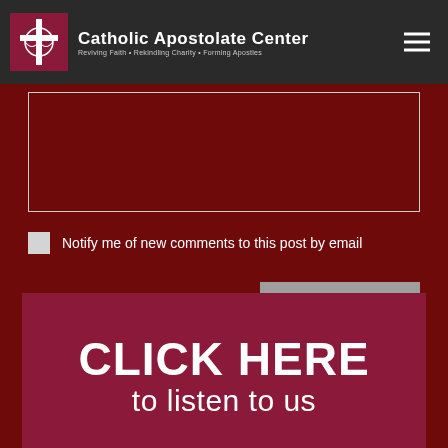Catholic Apostolate Center — Reviving Faith • Rekindling Charity • Forming Apostles
[Figure (screenshot): Empty textarea / comment input box with dark red background and light gray border]
Notify me of new comments to this post by email
SUBMIT
[Figure (infographic): Dark pink/maroon banner reading CLICK HERE to listen to us]